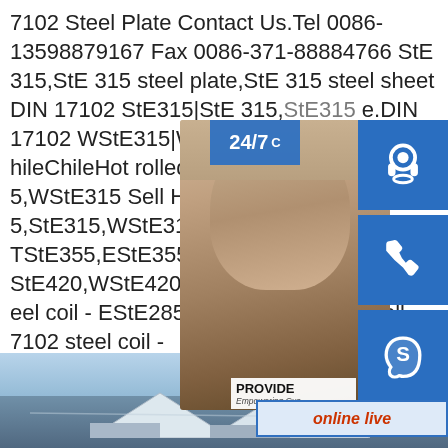7102 Steel Plate Contact Us.Tel 0086-13598879167 Fax 0086-371-88884766 StE 315,StE 315 steel plate,StE 315 steel sheet DIN 17102 StE315|StE 315,StE315 e.DIN 17102 WStE315|WStE 315,WStE3 hileChileHot rolled DIN 17102 steel coil 5,WStE315 Sell Hot rolled DIN 17102 st 5,StE315,WStE315,TStE315,EStE315,S TStE355,EStE355,StE380,WStE380,TSt StE420,WStE420,TStE420sp.infoHot roll eel coil - EStE285,StE315,WStE315 Sell 7102 steel coil - EStE285,StE315,WStE315,TStE315,EStE315,StE355,WStE355,TStE355,EStE355,StE380,WStE380,TStE380,EStE380,StE420,WStE420,TStE420
[Figure (photo): Customer service representative widget with 24/7 label, headset icon, phone icon, Skype icon, PROVIDE Empowering Customers text, and online live button overlay on a photo of a woman with headset]
[Figure (photo): Bottom portion of page showing an outdoor photo of a building or facility with a roof and sky background]